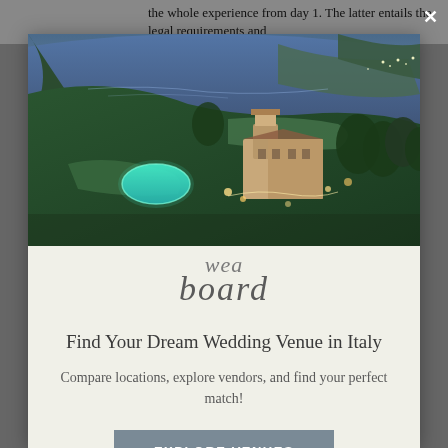the whole experience from day 1. The latter entails the legal requirements and
[Figure (photo): Aerial view of an Italian coastal villa at dusk with illuminated pool, gardens, and sea in background]
wea board
Find Your Dream Wedding Venue in Italy
Compare locations, explore vendors, and find your perfect match!
EXPLORE VENUES